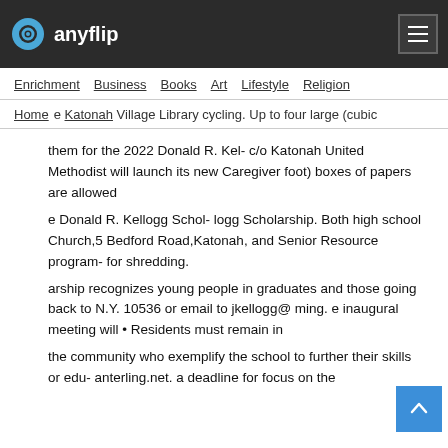anyflip
Enrichment  Business  Books  Art  Lifestyle  Religion
Home  e Katonah Village Library cycling. Up to four large (cubic
them for the 2022 Donald R. Kel- c/o Katonah United Methodist will launch its new Caregiver foot) boxes of papers are allowed
e Donald R. Kellogg Schol- logg Scholarship. Both high school Church,5 Bedford Road,Katonah, and Senior Resource program- for shredding.
arship recognizes young people in graduates and those going back to N.Y. 10536 or email to jkellogg@ ming. e inaugural meeting will • Residents must remain in
the community who exemplify the school to further their skills or edu- anterling.net. a deadline for focus on the